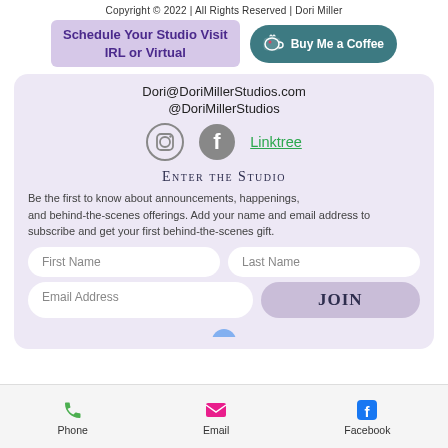Copyright © 2022 | All Rights Reserved | Dori Miller
Schedule Your Studio Visit IRL or Virtual
[Figure (infographic): Buy Me a Coffee button with coffee cup icon on teal/dark-cyan background]
Dori@DoriMillerStudios.com
@DoriMillerStudios
[Figure (infographic): Instagram icon (circle outline camera), Facebook icon (grey circle with F), Linktree green underlined text link]
Enter the Studio
Be the first to know about announcements, happenings, and behind-the-scenes offerings.  Add your name and email address to subscribe and get your first behind-the-scenes gift.
[Figure (infographic): Email signup form with First Name, Last Name, Email Address fields and JOIN button]
[Figure (infographic): Mobile app bottom navigation bar with Phone (green handset), Email (pink envelope), Facebook (blue F) icons]